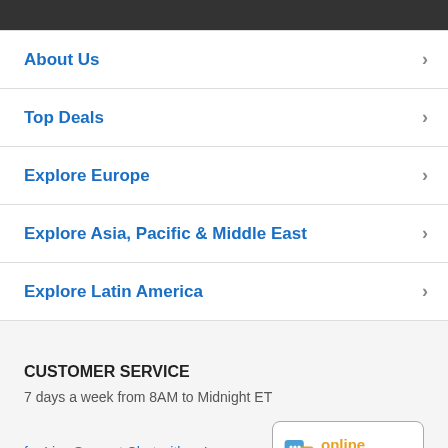About Us
Top Deals
Explore Europe
Explore Asia, Pacific & Middle East
Explore Latin America
CUSTOMER SERVICE
7 days a week from 8AM to Midnight ET
for Live Support Chat with us!
[Figure (illustration): Online chat badge with speech bubble icon, text 'online' in orange and 'Chat with us!' below in dark gray]
Toll Free: 1-800-430-0484